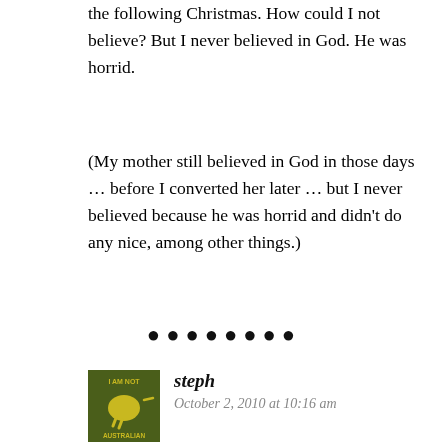the following Christmas. How could I not believe? But I never believed in God. He was horrid.
(My mother still believed in God in those days … before I converted her later … but I never believed because he was horrid and didn't do any nice, among other things.)
• • • • • • • •
steph
October 2, 2010 at 10:16 am